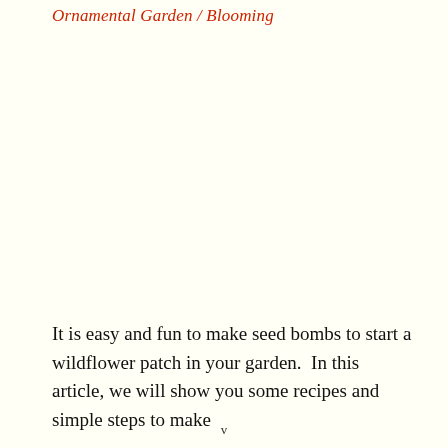Ornamental Garden / Blooming
It is easy and fun to make seed bombs to start a wildflower patch in your garden.  In this article, we will show you some recipes and simple steps to make
v